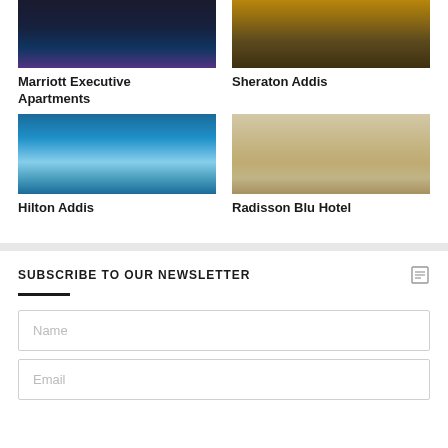[Figure (photo): Marriott Executive Apartments hotel building at night with city lights]
[Figure (photo): Sheraton Addis hotel exterior with warm lighting]
Marriott Executive Apartments
Sheraton Addis
[Figure (photo): Hilton Addis hotel with blue swimming pool and purple lighting at dusk]
[Figure (photo): Radisson Blu Hotel exterior showing tall beige multi-story building]
Hilton Addis
Radisson Blu Hotel
SUBSCRIBE TO OUR NEWSLETTER
Name
Email